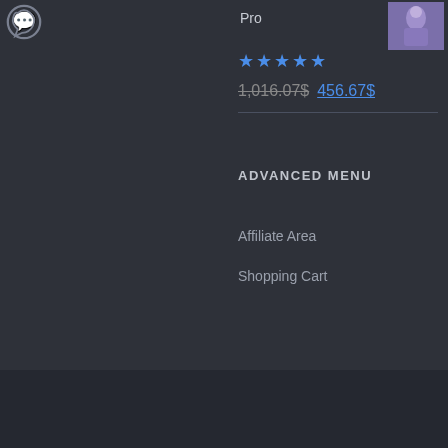[Figure (logo): WhatsApp icon in top left corner]
Pro
[Figure (photo): Small product image of a figure in purple/blue outfit]
★★★★★ (5 stars, blue)
1,016.07$ 456.67$
ADVANCED MENU
Affiliate Area
Shopping Cart
© Copyright 2017 - 2022 | Russo Michela by Trading Forex Professional | All Rights Reserved